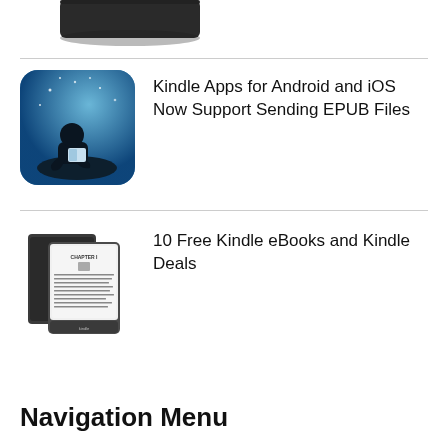[Figure (photo): Partial view of a black Kindle device at top of page, cropped]
[Figure (photo): Kindle app icon showing a child silhouette reading a book against a blue starry night sky background]
Kindle Apps for Android and iOS Now Support Sending EPUB Files
[Figure (photo): Two Kindle e-reader devices showing a book chapter page with text]
10 Free Kindle eBooks and Kindle Deals
Navigation Menu